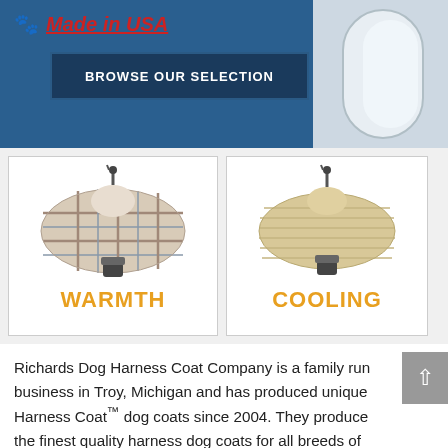[Figure (screenshot): Banner with 'Made in USA' text with paw icon and 'BROWSE OUR SELECTION' button on blue background]
[Figure (photo): Two dog harness coat product images side by side. Left shows plaid fabric coat labeled WARMTH, right shows tan/beige ribbed fabric coat labeled COOLING.]
Richards Dog Harness Coat Company is a family run business in Troy, Michigan and has produced unique Harness Coat™ dog coats since 2004. They produce the finest quality harness dog coats for all breeds of dogs. Richards Dog Harness Coat line includes winter warmth dog coats, dog rain coats, medical spa cooling dog coats, and farm, field sports and hunting dog